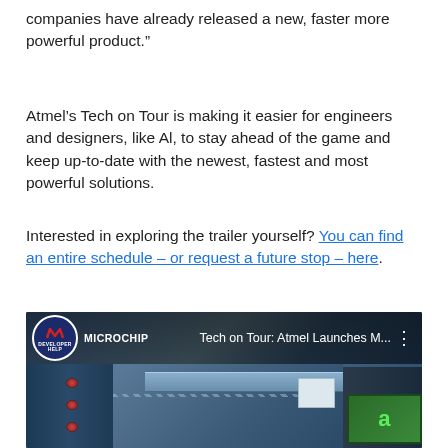companies have already released a new, faster more powerful product.”
Atmel’s Tech on Tour is making it easier for engineers and designers, like Al, to stay ahead of the game and keep up-to-date with the newest, fastest and most powerful solutions.
Interested in exploring the trailer yourself? You can find an entire schedule – or request a future stop – here.
[Figure (screenshot): YouTube video thumbnail showing 'Tech on Tour: Atmel Launches M...' with Microchip Developer Help channel icon and a blue truck/trailer image]